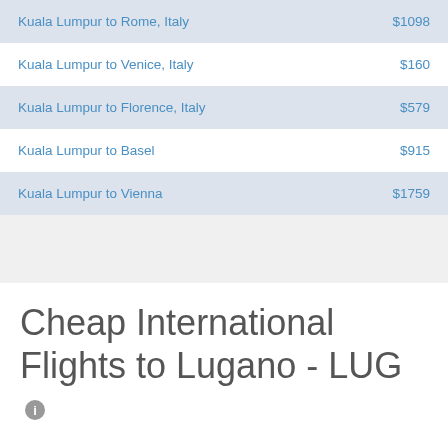| Route | Price |
| --- | --- |
| Kuala Lumpur to Rome, Italy | $1098 |
| Kuala Lumpur to Venice, Italy | $160 |
| Kuala Lumpur to Florence, Italy | $579 |
| Kuala Lumpur to Basel | $915 |
| Kuala Lumpur to Vienna | $1759 |
Cheap International Flights to Lugano - LUG